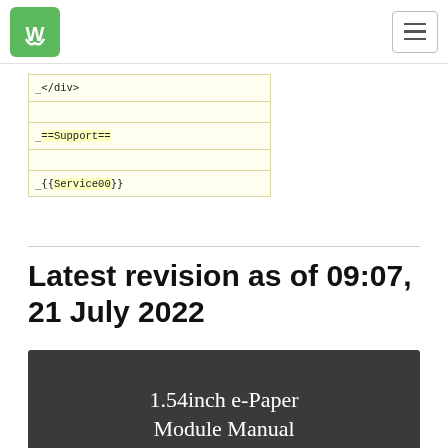Waveshare logo and navigation menu
| </div> |
| ==Support== |
| {{Service00}} |
Latest revision as of 09:07, 21 July 2022
[Figure (other): Dark banner with title '1.54inch e-Paper Module Manual']